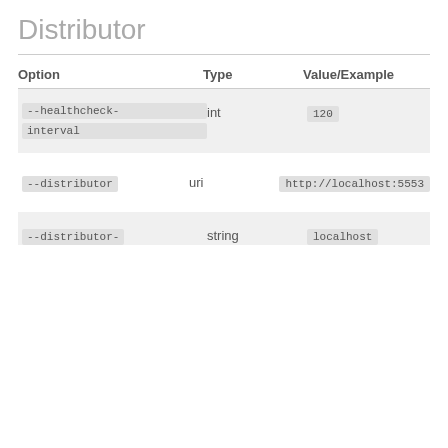Distributor
| Option | Type | Value/Example |
| --- | --- | --- |
| --healthcheck-interval | int | 120 |
| --distributor | uri | http://localhost:5553 |
| --distributor- | string | localhost |